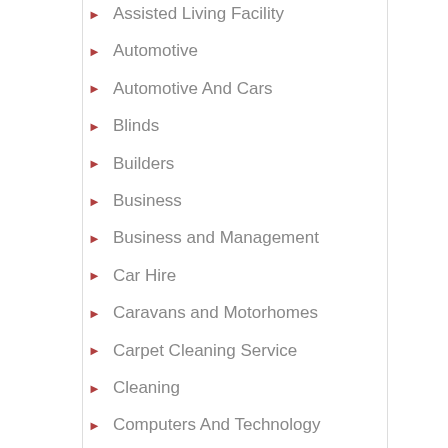Assisted Living Facility
Automotive
Automotive And Cars
Blinds
Builders
Business
Business and Management
Car Hire
Caravans and Motorhomes
Carpet Cleaning Service
Cleaning
Computers And Technology
Concrete
Construction & Contractors